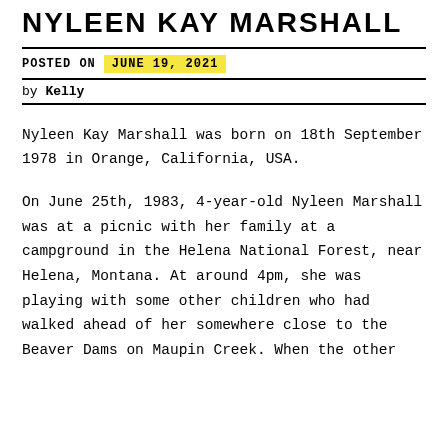NYLEEN KAY MARSHALL
POSTED ON  JUNE 19, 2021
by Kelly
Nyleen Kay Marshall was born on 18th September 1978 in Orange, California, USA.
On June 25th, 1983, 4-year-old Nyleen Marshall was at a picnic with her family at a campground in the Helena National Forest, near Helena, Montana. At around 4pm, she was playing with some other children who had walked ahead of her somewhere close to the Beaver Dams on Maupin Creek. When the other